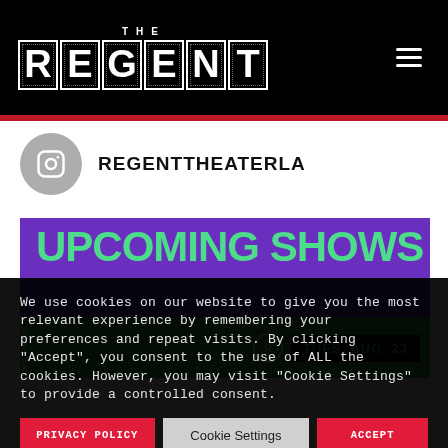THE REGENT
REGENTTHEATERLA
[Figure (screenshot): Upcoming Shows promotional banner with purple background, green text reading UPCOMING SHOWS, a green strip at bottom with date TUES, AUG. 23]
We use cookies on our website to give you the most relevant experience by remembering your preferences and repeat visits. By clicking “Accept”, you consent to the use of ALL the cookies. However, you may visit “Cookie Settings” to provide a controlled consent.
PRIVACY POLICY | Cookie Settings | ACCEPT